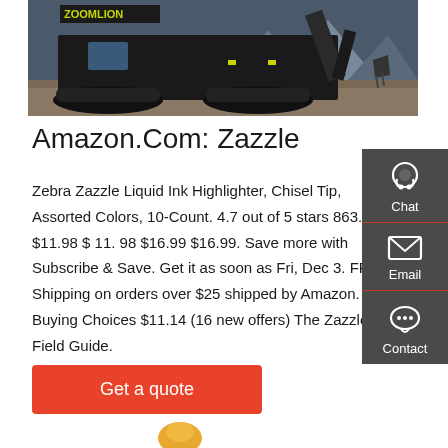[Figure (photo): Zoomlion excavator / construction machine on gravel ground with mountains in background]
Amazon.Com: Zazzle
Zebra Zazzle Liquid Ink Highlighter, Chisel Tip, Assorted Colors, 10-Count. 4.7 out of 5 stars 863. $11.98 $ 11. 98 $16.99 $16.99. Save more with Subscribe & Save. Get it as soon as Fri, Dec 3. FREE Shipping on orders over $25 shipped by Amazon. More Buying Choices $11.14 (16 new offers) The Zazzle Field Guide.
Get a quote
[Figure (illustration): Partial animal illustration at bottom of page]